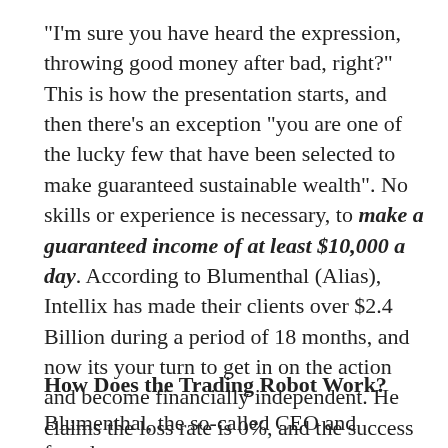"I'm sure you have heard the expression, throwing good money after bad, right?" This is how the presentation starts, and then there's an exception "you are one of the lucky few that have been selected to make guaranteed sustainable wealth". No skills or experience is necessary, to make a guaranteed income of at least $10,000 a day. According to Blumenthal (Alias), Intellix has made their clients over $2.4 Billion during a period of 18 months, and now its your turn to get in on the action and become financially independent. He claims the loss rate is 0%, and the success rate is 100% over the past 18 months.
How Does the Trading Robot Work?
Blumenthal, the so-called CEO and founder